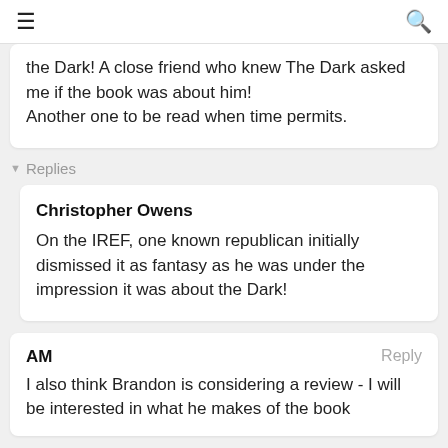≡  [search icon]
the Dark! A close friend who knew The Dark asked me if the book was about him!

Another one to be read when time permits.
▾ Replies
Christopher Owens
On the IREF, one known republican initially dismissed it as fantasy as he was under the impression it was about the Dark!
AM
Reply
I also think Brandon is considering a review - I will be interested in what he makes of the book